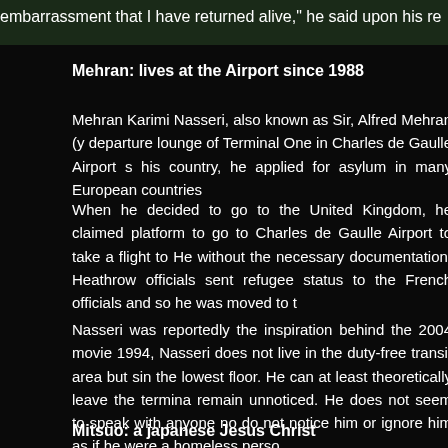[Figure (photo): Dark header image showing text partially visible: 'embarrassment that I have returned alive,' he said upon his re...]
Mehran: lives at the Airport since 1988
Mehran Karimi Nasseri, also known as Sir, Alfred Mehran (y... departure lounge of Terminal One in Charles de Gaulle Airport s... his country, he applied for asylum in many European countries ...
When he decided to go to the United Kingdom, he claimed ... platform to go to Charles de Gaulle Airport to take a flight to He... without the necessary documentation, Heathrow officials sent ... refugee status to the French officials and so he was moved to t...
Nasseri was reportedly the inspiration behind the 2004 movie... 1994, Nasseri does not live in the duty-free transit area but sin... the lowest floor. He can at least theoretically leave the termina... remain unnoticed. He does not seem to speak with anyone no... do not notice him or ignore him as if he were a homeless perso...
Mitsuo: a japanese Jesus Christ